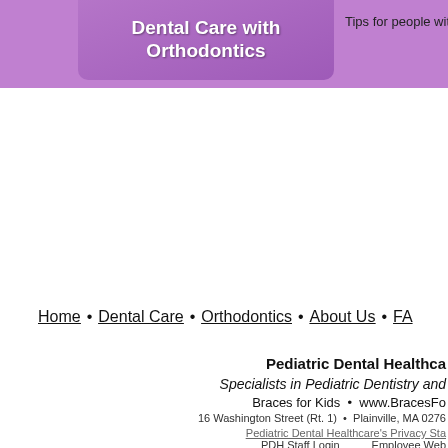[Figure (screenshot): Website header banner with purple background. Left side shows a rounded purple button/logo reading 'Dental Care with Orthodontics'. Right side shows text 'Tips for people with braces'.]
Tips for people with braces
Home • Dental Care • Orthodontics • About Us • FA
Pediatric Dental Healthca
Specialists in Pediatric Dentistry and
Braces for Kids • www.BracesFo
16 Washington Street (Rt. 1) • Plainville, MA 0276
Pediatric Dental Healthcare's Privacy Sta
PDH Staff Login          Employee Web
Admin Login